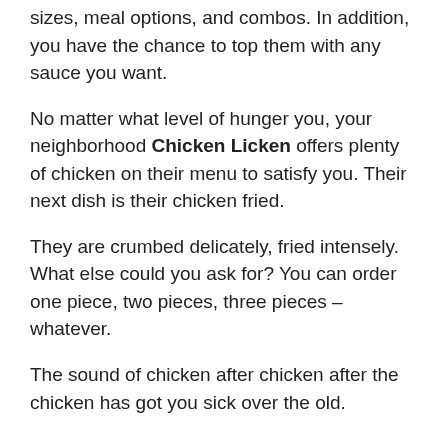sizes, meal options, and combos. In addition, you have the chance to top them with any sauce you want.
No matter what level of hunger you, your neighborhood Chicken Licken offers plenty of chicken on their menu to satisfy you. Their next dish is their chicken fried.
They are crumbed delicately, fried intensely. What else could you ask for? You can order one piece, two pieces, three pieces – whatever.
The sound of chicken after chicken after the chicken has got you sick over the old.